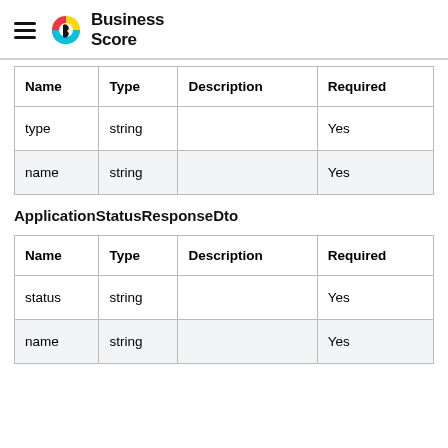Business Score
| Name | Type | Description | Required |
| --- | --- | --- | --- |
| type | string |  | Yes |
| name | string |  | Yes |
ApplicationStatusResponseDto
| Name | Type | Description | Required |
| --- | --- | --- | --- |
| status | string |  | Yes |
| name | string |  | Yes |